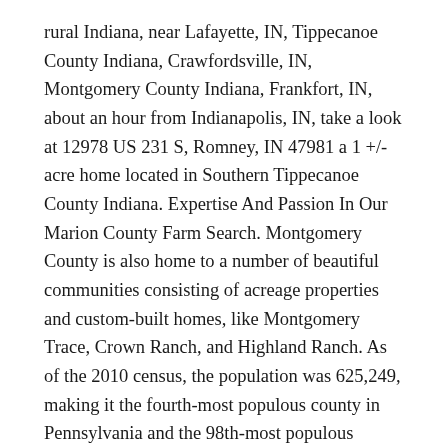rural Indiana, near Lafayette, IN, Tippecanoe County Indiana, Crawfordsville, IN, Montgomery County Indiana, Frankfort, IN, about an hour from Indianapolis, IN, take a look at 12978 US 231 S, Romney, IN 47981 a 1 +/- acre home located in Southern Tippecanoe County Indiana. Expertise And Passion In Our Marion County Farm Search. Montgomery County is also home to a number of beautiful communities consisting of acreage properties and custom-built homes, like Montgomery Trace, Crown Ranch, and Highland Ranch. As of the 2010 census, the population was 625,249, making it the fourth-most populous county in Pennsylvania and the 98th-most populous county in the United States. Click on the county below to find all homes for sale with facilities for horses. Our Farm is located on 250 acres in beautiful rural Pennsylvania. Farms for sale in Montgomery County sustain livestock including horses. Create email alert. LandWatch has 51 farms and ranches for sale in Montgomery County, TX. Search for homes for sale on Horse